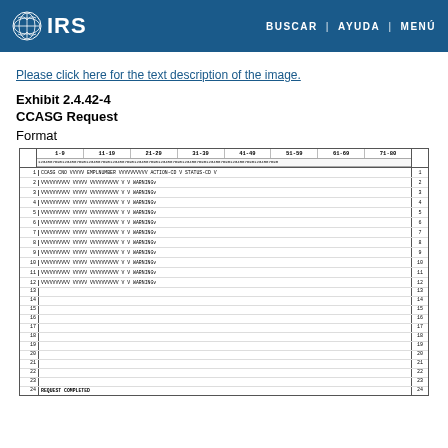IRS | BUSCAR | AYUDA | MENÚ
Please click here for the text description of the image.
Exhibit 2.4.42-4
CCASG Request
Format
[Figure (other): CCASG Request Format table showing a fixed-width formatted data layout with column rulers (1-9, 11-19, 21-29, 31-39, 41-49, 51-59, 61-69, 71-80), row numbers 1-24, and sample data rows with CCASG CNO VVVVV EMPLNUMBER VVVVVVVVVV ACTION-CD V STATUS-CD V entries for rows 1-12, then empty rows 13-23, and row 24 showing REQUEST COMPLETED.]